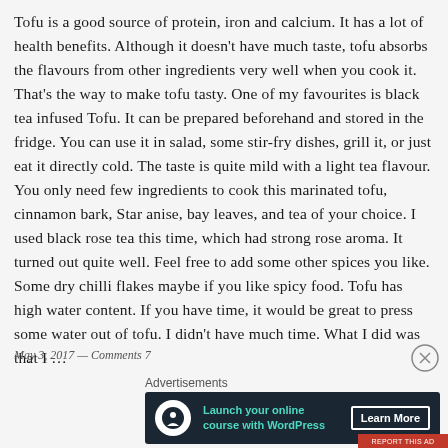Tofu is a good source of protein, iron and calcium. It has a lot of health benefits. Although it doesn't have much taste, tofu absorbs the flavours from other ingredients very well when you cook it. That's the way to make tofu tasty. One of my favourites is black tea infused Tofu. It can be prepared beforehand and stored in the fridge. You can use it in salad, some stir-fry dishes, grill it, or just eat it directly cold. The taste is quite mild with a light tea flavour. You only need few ingredients to cook this marinated tofu, cinnamon bark, Star anise, bay leaves, and tea of your choice. I used black rose tea this time, which had strong rose aroma. It turned out quite well. Feel free to add some other spices you like. Some dry chilli flakes maybe if you like spicy food. Tofu has high water content. If you have time, it would be great to press some water out of tofu. I didn't have much time. What I did was that I …
May 3, 2017 — Comments 7
Advertisements
[Figure (infographic): Advertisement banner: dark background with circular white icon featuring a person/tree symbol, teal text 'Launch your online course with WordPress', and a white-bordered 'Learn More' button.]